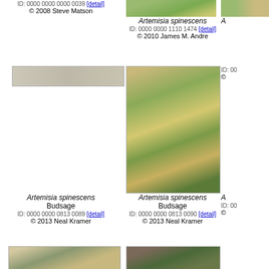ID: 0000 0000 0000 0039 [detail]
© 2008 Steve Matson
[Figure (photo): Artemisia spinescens top right partial photo]
Artemisia spinescens
ID: 0000 0000 1110 1474 [detail]
© 2010 James M. Andre
[Figure (photo): Partial Artemisia photo cropped on right]
[Figure (photo): Small sandy/pale bark texture photo]
[Figure (photo): Artemisia spinescens with yellow flowers close-up]
[Figure (photo): Partial Artemisia photo cropped on right]
Artemisia spinescens
Budsage
ID: 0000 0000 0813 0089 [detail]
© 2013 Neal Kramer
Artemisia spinescens
Budsage
ID: 0000 0000 0813 0090 [detail]
© 2013 Neal Kramer
[Figure (photo): Artemisia spinescens low plant on sand]
[Figure (photo): Artemisia spinescens close-up of foliage]
A...
ID: 000...
©...